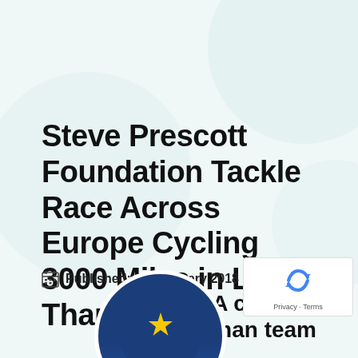Steve Prescott Foundation Tackle Race Across Europe Cycling 3000 Miles in Less Than 6 Days
Published: 05 February 2018
[Figure (illustration): Partial circular logo at bottom showing dark blue circle with a yellow star, European flag style. reCAPTCHA badge visible in bottom right corner.]
A crac man team